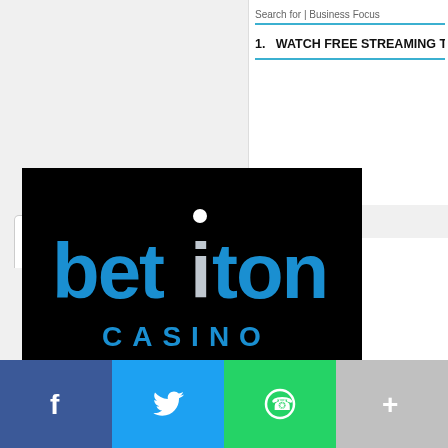Search for | Business Focus
1. WATCH FREE STREAMING TV
[Figure (logo): Betiton Casino logo: black background with 'betiton' in blue and white lettering and 'CASINO' in blue below]
[Figure (infographic): Social share bar with Facebook (blue), Twitter (light blue), WhatsApp (green), and More (+) (grey) buttons]